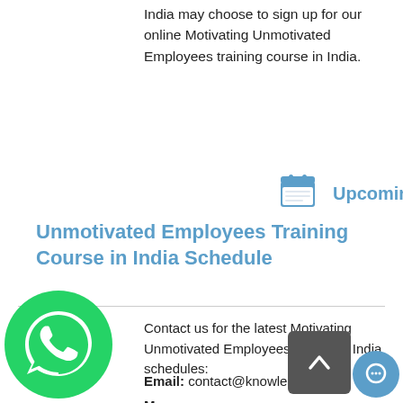India may choose to sign up for our online Motivating Unmotivated Employees training course in India.
Upcoming Motivating Unmotivated Employees Training Course in India Schedule
Contact us for the latest Motivating Unmotivated Employees course in India schedules:
Email: contact@knowlesti.in
Message: